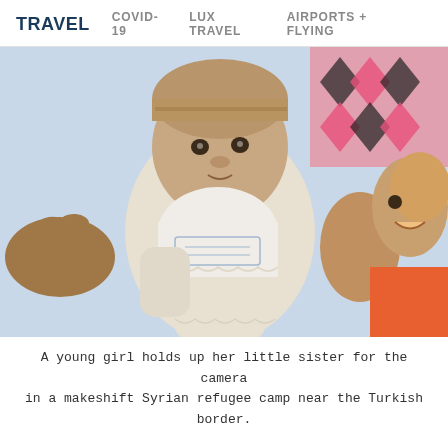TRAVEL   COVID-19   LUX TRAVEL   AIRPORTS + FLYING
[Figure (photo): A young girl holds up her baby sister toward the camera at a makeshift Syrian refugee camp near the Turkish border. The baby wears a knit cap and a white outfit with a bib. The older girl is smiling. A colorful patterned fabric is visible in the background.]
A young girl holds up her little sister for the camera in a makeshift Syrian refugee camp near the Turkish border.
2. Film looks beautiful.